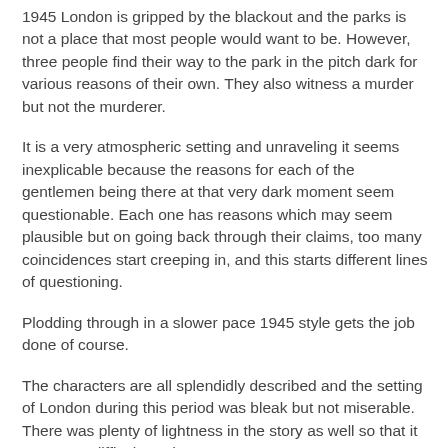1945 London is gripped by the blackout and the parks is not a place that most people would want to be. However, three people find their way to the park in the pitch dark for various reasons of their own. They also witness a murder but not the murderer.
It is a very atmospheric setting and unraveling it seems inexplicable because the reasons for each of the gentlemen being there at that very dark moment seem questionable. Each one has reasons which may seem plausible but on going back through their claims, too many coincidences start creeping in, and this starts different lines of questioning.
Plodding through in a slower pace 1945 style gets the job done of course.
The characters are all splendidly described and the setting of London during this period was bleak but not miserable. There was plenty of lightness in the story as well so that it was not a difficult read.